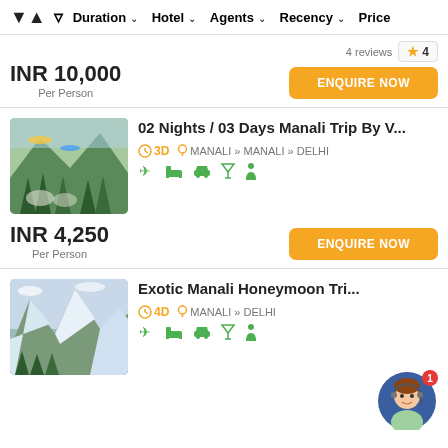Duration | Hotel | Agents | Recency | Price
4 reviews ★ 4
INR 10,000 Per Person
ENQUIRE NOW
[Figure (photo): Green meadow with paragliders and trees, Manali]
02 Nights / 03 Days Manali Trip By V...
3D  MANALI » MANALI » DELHI
INR 4,250 Per Person
ENQUIRE NOW
[Figure (photo): Snow-capped mountains with pine trees, Manali]
Exotic Manali Honeymoon Tri...
4D  MANALI » DELHI